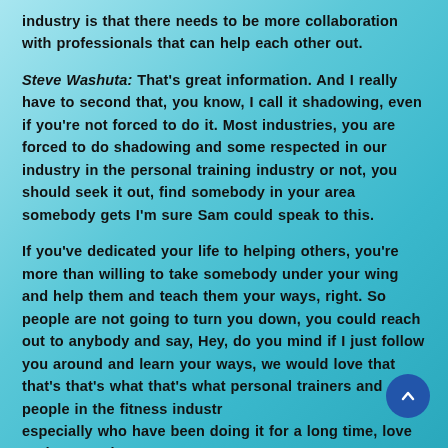industry is that there needs to be more collaboration with professionals that can help each other out.
Steve Washuta: That's great information. And I really have to second that, you know, I call it shadowing, even if you're not forced to do it. Most industries, you are forced to do shadowing and some respected in our industry in the personal training industry or not, you should seek it out, find somebody in your area somebody gets I'm sure Sam could speak to this.
If you've dedicated your life to helping others, you're more than willing to take somebody under your wing and help them and teach them your ways, right. So people are not going to turn you down, you could reach out to anybody and say, Hey, do you mind if I just follow you around and learn your ways, we would love that that's that's what that's what personal trainers and people in the fitness industry especially who have been doing it for a long time, love to do so seek